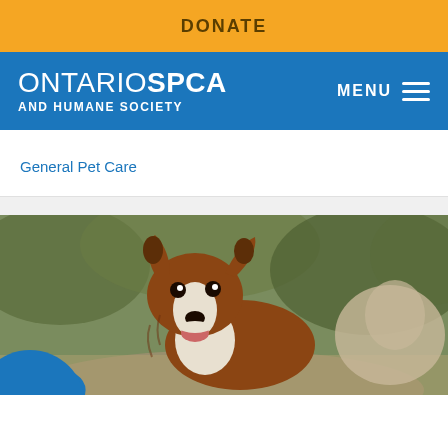DONATE
ONTARIOSPCA AND HUMANE SOCIETY
MENU
General Pet Care
[Figure (photo): A brown and white border collie dog facing the camera with mouth open and tongue slightly visible, blurred outdoor background with green foliage and a dirt path. A blue circular graphic element is visible at the bottom left corner.]